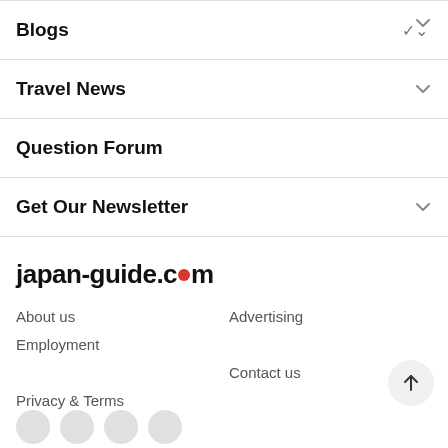Blogs
Travel News
Question Forum
Get Our Newsletter
[Figure (logo): japan-guide.com logo with red dot replacing the 'o' in .com]
About us
Advertising
Employment
Contact us
Privacy & Terms